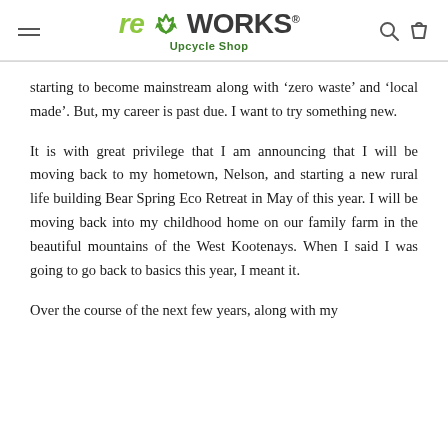reWORKS® Upcycle Shop
starting to become mainstream along with 'zero waste' and 'local made'. But, my career is past due. I want to try something new.
It is with great privilege that I am announcing that I will be moving back to my hometown, Nelson, and starting a new rural life building Bear Spring Eco Retreat in May of this year. I will be moving back into my childhood home on our family farm in the beautiful mountains of the West Kootenays. When I said I was going to go back to basics this year, I meant it.
Over the course of the next few years, along with my